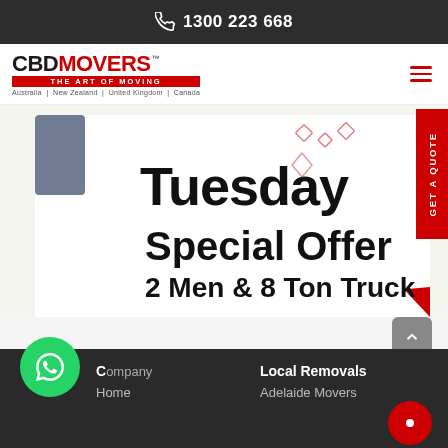1300 223 668
[Figure (logo): CBD Movers logo with tagline 'THE ART OF MOVING' and countries listed: Australia | New Zealand | United Kingdom | Canada]
[Figure (infographic): Tuesday Special Offer banner - 2 Men & 8 Ton Truck promotional banner with red and white diagonal design]
Company
Local Removals
Home
Adelaide Movers